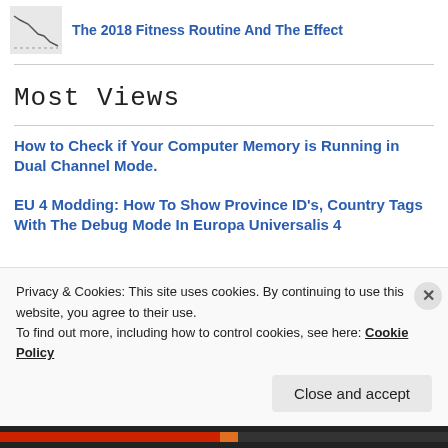[Figure (other): Thumbnail image with a downward trending line chart]
The 2018 Fitness Routine And The Effect
Most Views
How to Check if Your Computer Memory is Running in Dual Channel Mode.
EU 4 Modding: How To Show Province ID's, Country Tags With The Debug Mode In Europa Universalis 4
Privacy & Cookies: This site uses cookies. By continuing to use this website, you agree to their use.
To find out more, including how to control cookies, see here: Cookie Policy
Close and accept